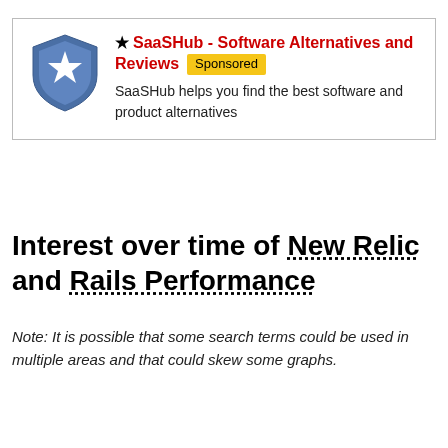[Figure (logo): SaaSHub shield logo with star, blue and white colors]
SaaSHub - Software Alternatives and Reviews [Sponsored]
SaaSHub helps you find the best software and product alternatives
Interest over time of New Relic and Rails Performance
Note: It is possible that some search terms could be used in multiple areas and that could skew some graphs.